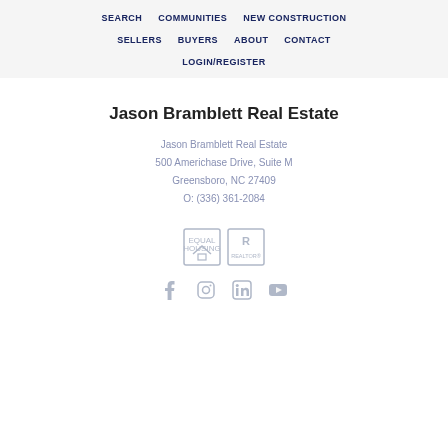SEARCH   COMMUNITIES   NEW CONSTRUCTION   SELLERS   BUYERS   ABOUT   CONTACT   LOGIN/REGISTER
Jason Bramblett Real Estate
Jason Bramblett Real Estate
500 Americhase Drive, Suite M
Greensboro, NC 27409
O: (336) 361-2084
[Figure (logo): Equal Housing Opportunity and Realtor logos]
[Figure (logo): Social media icons: Facebook, Instagram, LinkedIn, YouTube]